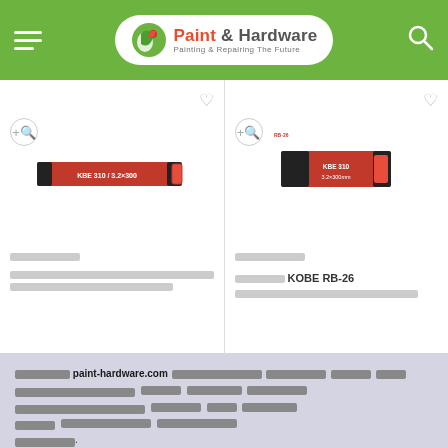Paint & Hardware — Painting & Repairing The Future
[Figure (screenshot): Two product cards showing red/black welding rod boxes (KOBE brand). Left card shows a long red box at angle; right card shows a shorter red/black box. Each card has a heart icon and zoom icon.]
ลงทะเบียน paint-hardware.com เพื่อเปิดใช้งานคุกกี้ทางเทคนิคที่จำเป็น คุกกี้ 'การตั้งค่า' อนุญาตให้เว็บไซต์จำข้อมูลที่เปลี่ยนแปลงวิธีที่เว็บไซต์ทำงาน คุกกี้ 'สถิติ' อนุญาตให้เว็บไซต์เข้าใจวิธีที่ผู้เยี่ยมชมโต้ตอบกับเว็บไซต์โดยการรวบรวมและรายงานข้อมูล นโยบายคุกกี้.
ปฏิเสธทั้งหมด | ยอมรับทั้งหมด